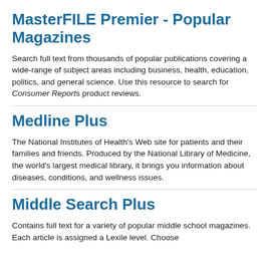MasterFILE Premier - Popular Magazines
Search full text from thousands of popular publications covering a wide-range of subject areas including business, health, education, politics, and general science. Use this resource to search for Consumer Reports product reviews.
Medline Plus
The National Institutes of Health's Web site for patients and their families and friends. Produced by the National Library of Medicine, the world's largest medical library, it brings you information about diseases, conditions, and wellness issues.
Middle Search Plus
Contains full text for a variety of popular middle school magazines. Each article is assigned a Lexile level. Choose